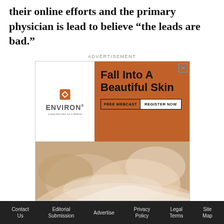their online efforts and the primary physician is lead to believe “the leads are bad.”
[Figure (other): Advertisement for Environ skincare brand. Orange background with Environ logo on white box on left. Text reads: Fall Into A Beautiful Skin. FREE WEBCAST | REGISTER NOW. Bottom half shows hands applying lotion to skin.]
Practice B staff members view online inquiries as
Contact Us   Editorial Submission   Advertise   Privacy Policy   Legal Terms   Site Map